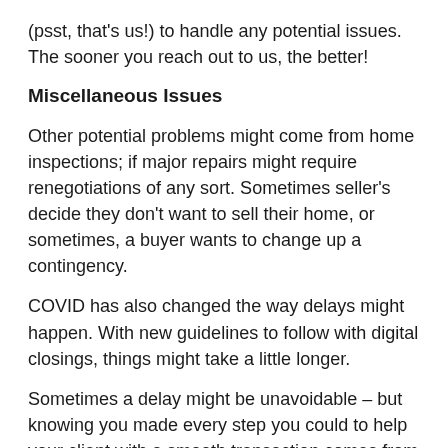(psst, that's us!) to handle any potential issues. The sooner you reach out to us, the better!
Miscellaneous Issues
Other potential problems might come from home inspections; if major repairs might require renegotiations of any sort. Sometimes seller's decide they don't want to sell their home, or sometimes, a buyer wants to change up a contingency.
COVID has also changed the way delays might happen. With new guidelines to follow with digital closings, things might take a little longer.
Sometimes a delay might be unavoidable – but knowing you made every step you could to help your client with a smooth transaction comes from knowing what problems might arise and explaining them to your client as soon as possible.